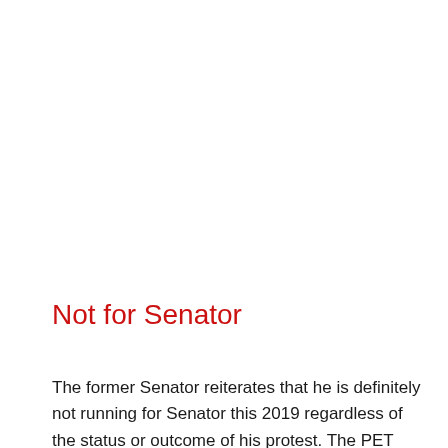Not for Senator
The former Senator reiterates that he is definitely not running for Senator this 2019 regardless of the status or outcome of his protest. The PET just have to decide on